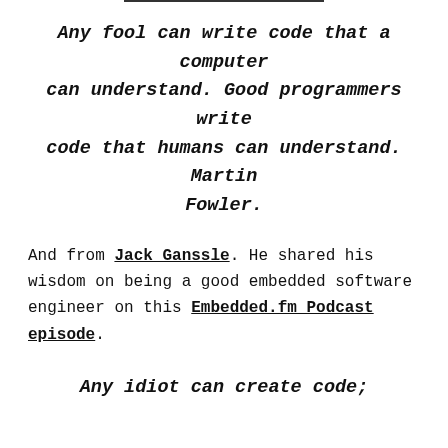Any fool can write code that a computer can understand. Good programmers write code that humans can understand. Martin Fowler.
And from Jack Ganssle. He shared his wisdom on being a good embedded software engineer on this Embedded.fm Podcast episode.
Any idiot can create code;